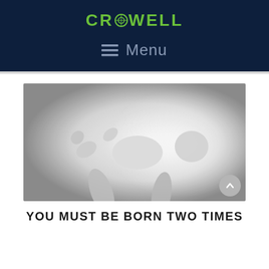CROWELL
≡ Menu
[Figure (photo): Black and white photograph of a newborn baby being held up by hands, shown against a bright white/grey background]
YOU MUST BE BORN TWO TIMES